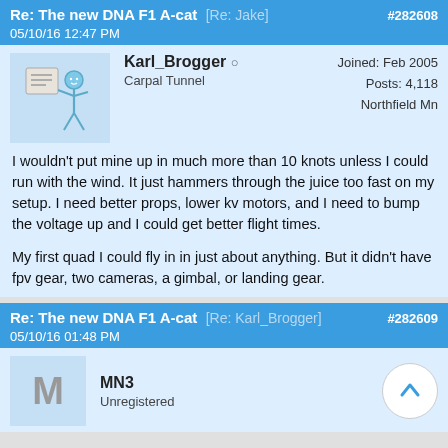Re: The new DNA F1 A-cat [Re: Jake] #282608
05/10/16 12:47 PM
Karl_Brogger
Carpal Tunnel
Joined: Feb 2005
Posts: 4,118
Northfield Mn
I wouldn't put mine up in much more than 10 knots unless I could run with the wind. It just hammers through the juice too fast on my setup. I need better props, lower kv motors, and I need to bump the voltage up and I could get better flight times.

My first quad I could fly in in just about anything. But it didn't have fpv gear, two cameras, a gimbal, or landing gear.
Re: The new DNA F1 A-cat [Re: Karl_Brogger] #282609
05/10/16 01:48 PM
MN3
Unregistered